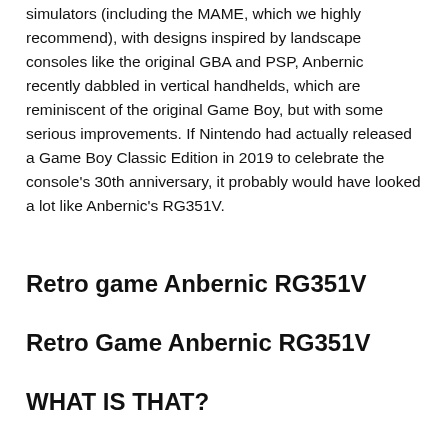simulators (including the MAME, which we highly recommend), with designs inspired by landscape consoles like the original GBA and PSP, Anbernic recently dabbled in vertical handhelds, which are reminiscent of the original Game Boy, but with some serious improvements. If Nintendo had actually released a Game Boy Classic Edition in 2019 to celebrate the console's 30th anniversary, it probably would have looked a lot like Anbernic's RG351V.
Retro game Anbernic RG351V
Retro Game Anbernic RG351V
WHAT IS THAT?
A handheld console that looks like the 2021 version of the Nintendo Game Boy but is capable of playing hundreds of retro